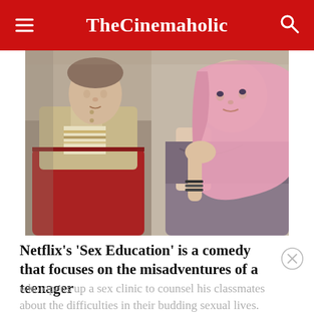TheCinemaholic
[Figure (photo): Two young people sitting together – a young man in a beige and red color-block jacket looking sideways, and a young woman with pink hair resting her chin on her hand, looking ahead.]
Netflix's 'Sex Education' is a comedy that focuses on the misadventures of a teenager
who opens up a sex clinic to counsel his classmates about the difficulties in their budding sexual lives. Otis Milburn is in the